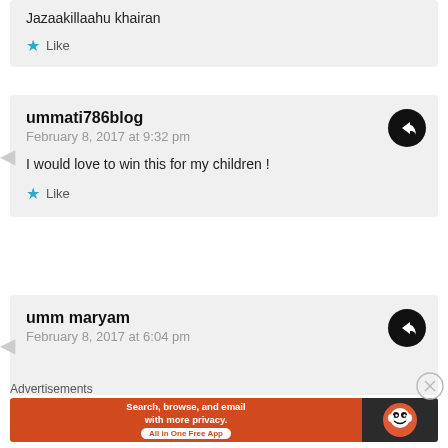Jazaakillaahu khairan
★ Like
ummati786blog
February 8, 2017 at 9:32 pm
I would love to win this for my children !
★ Like
umm maryam
February 8, 2017 at 6:04 pm
Advertisements
[Figure (screenshot): DuckDuckGo advertisement banner: orange section with text 'Search, browse, and email with more privacy. All in One Free App' and dark section with DuckDuckGo logo]